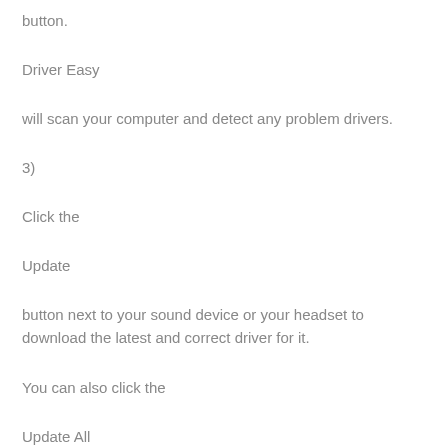button.
Driver Easy
will scan your computer and detect any problem drivers.
3)
Click the
Update
button next to your sound device or your headset to download the latest and correct driver for it.
You can also click the
Update All
button at the bottom right to automatically update all outdated